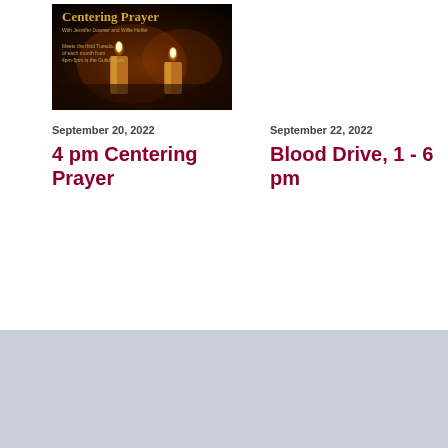[Figure (photo): Centering Prayer promotional image with golden candles on dark background. Text reads: 'Centering Prayer, With Jennifer Downer and Willie Holfer, Meets the third Tuesday of each month from 4pm-5pm in the Guild Room']
September 20, 2022
4 pm Centering Prayer
September 22, 2022
Blood Drive, 1 - 6 pm
HOLY SPIRIT | EPISCOPAL CHURCH
130 South Sixth Street East | Missoula, Montana 59801 | 406.542.2167